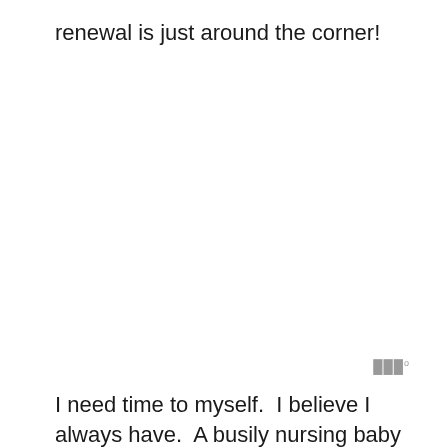renewal is just around the corner!
I need time to myself.  I believe I always have.  A busily nursing baby for over a year now has cramped my style as far as time alone goes.  But, it's time to reclaim some moments for me.  Boy, do I feel selfish